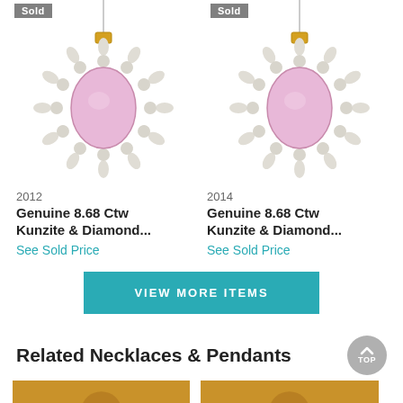[Figure (photo): Left product: pendant necklace with large pink kunzite stone surrounded by diamonds, with gold bail and silver chain. 'Sold' badge in top-left corner.]
[Figure (photo): Right product: pendant necklace with large pink kunzite stone surrounded by diamonds, similar style to left. 'Sold' badge in top-left corner.]
2012
2014
Genuine 8.68 Ctw Kunzite & Diamond...
Genuine 8.68 Ctw Kunzite & Diamond...
See Sold Price
See Sold Price
VIEW MORE ITEMS
Related Necklaces & Pendants
[Figure (photo): Small thumbnail of a related necklace/pendant on gold background, left side.]
[Figure (photo): Small thumbnail of a related necklace/pendant on gold background, right side.]